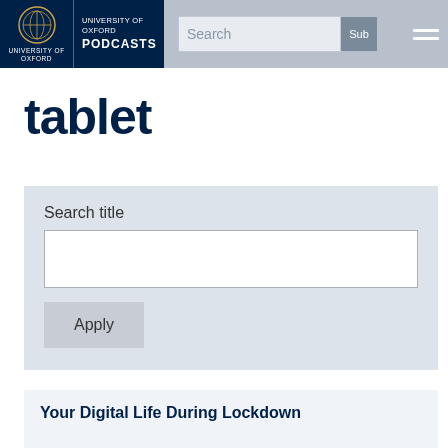University of Oxford Podcasts — navigation bar with search
tablet
Search title
Apply
Your Digital Life During Lockdown